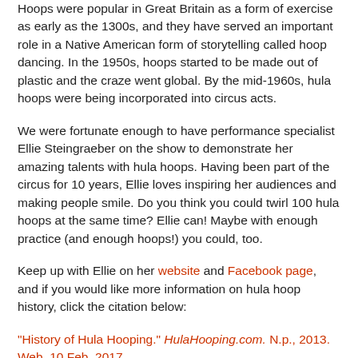Hoops were popular in Great Britain as a form of exercise as early as the 1300s, and they have served an important role in a Native American form of storytelling called hoop dancing. In the 1950s, hoops started to be made out of plastic and the craze went global. By the mid-1960s, hula hoops were being incorporated into circus acts.
We were fortunate enough to have performance specialist Ellie Steingraeber on the show to demonstrate her amazing talents with hula hoops. Having been part of the circus for 10 years, Ellie loves inspiring her audiences and making people smile. Do you think you could twirl 100 hula hoops at the same time? Ellie can! Maybe with enough practice (and enough hoops!) you could, too.
Keep up with Ellie on her website and Facebook page, and if you would like more information on hula hoop history, click the citation below:
"History of Hula Hooping." HulaHooping.com. N.p., 2013. Web. 10 Feb. 2017
For more Wonderama videos, find us on YouTube!